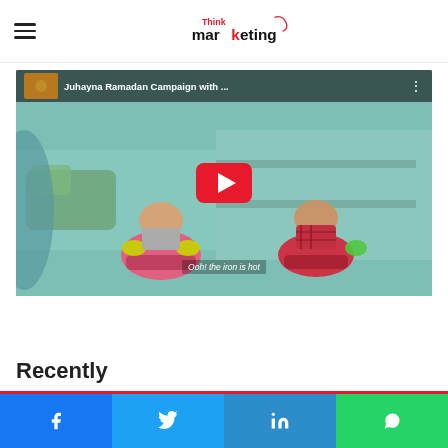Think Marketing
[Figure (screenshot): YouTube video embed showing 'Juhayna Ramadan Campaign with ...' — two toddlers sitting on toy horses in a playroom scene, with red YouTube play button overlay and subtitle text 'Ooh! the iron is hot']
Recently
Facebook share | Twitter share | LinkedIn share | WhatsApp share